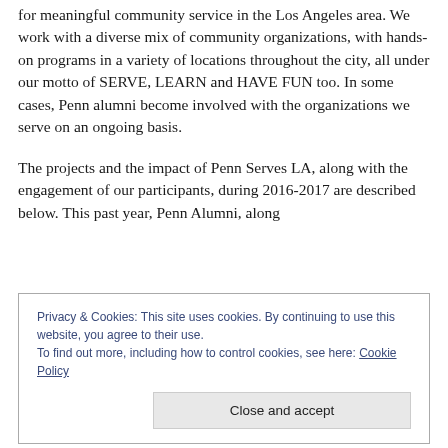for meaningful community service in the Los Angeles area. We work with a diverse mix of community organizations, with hands-on programs in a variety of locations throughout the city, all under our motto of SERVE, LEARN and HAVE FUN too. In some cases, Penn alumni become involved with the organizations we serve on an ongoing basis.
The projects and the impact of Penn Serves LA, along with the engagement of our participants, during 2016-2017 are described below. This past year, Penn Alumni, along
Privacy & Cookies: This site uses cookies. By continuing to use this website, you agree to their use. To find out more, including how to control cookies, see here: Cookie Policy
Close and accept